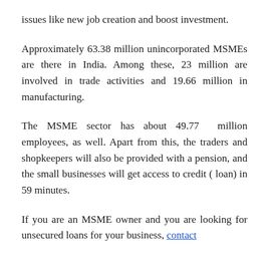issues like new job creation and boost investment.
Approximately 63.38 million unincorporated MSMEs are there in India. Among these, 23 million are involved in trade activities and 19.66 million in manufacturing.
The MSME sector has about 49.77 million employees, as well. Apart from this, the traders and shopkeepers will also be provided with a pension, and the small businesses will get access to credit ( loan) in 59 minutes.
If you are an MSME owner and you are looking for unsecured loans for your business, contact